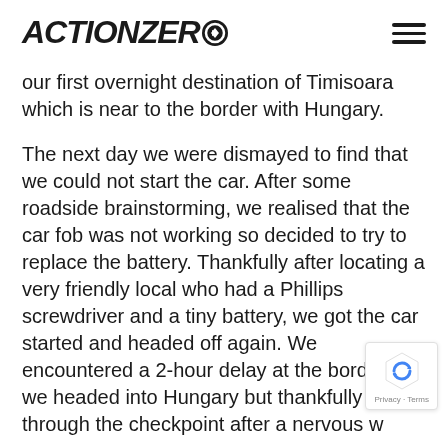ACTIONZERO
our first overnight destination of Timisoara which is near to the border with Hungary.
The next day we were dismayed to find that we could not start the car. After some roadside brainstorming, we realised that the car fob was not working so decided to try to replace the battery. Thankfully after locating a very friendly local who had a Phillips screwdriver and a tiny battery, we got the car started and headed off again. We encountered a 2-hour delay at the border as we headed into Hungary but thankfully got through the checkpoint after a nervous wait.
We sped through Hungary to arrive in Linz...